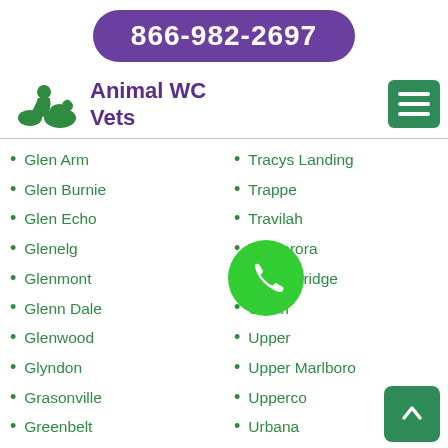866-982-2697
[Figure (logo): Animal WC Vets logo with green silhouette of person with animals]
Animal WC Vets
Glen Arm
Glen Burnie
Glen Echo
Glenelg
Glenmont
Glenn Dale
Glenwood
Glyndon
Grasonville
Greenbelt
Greensboro
Gunpowder
Tracys Landing
Trappe
Travilah
Tuscarora
Union Bridge
Union
Upper
Upper Marlboro
Upperco
Urbana
Waldorf
Walker Mill